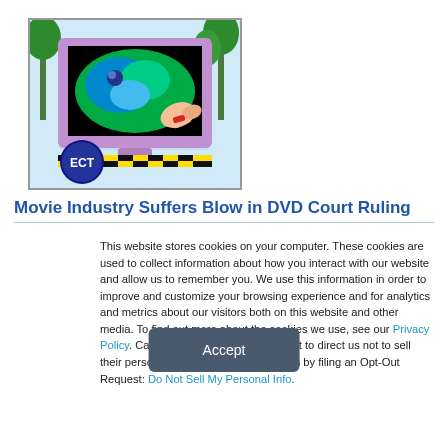[Figure (illustration): ECT branded image showing a computer monitor with colorful graphics and a hand, with palm trees in the background and an ECT logo badge in the lower left]
Movie Industry Suffers Blow in DVD Court Ruling
This website stores cookies on your computer. These cookies are used to collect information about how you interact with our website and allow us to remember you. We use this information in order to improve and customize your browsing experience and for analytics and metrics about our visitors both on this website and other media. To find out more about the cookies we use, see our Privacy Policy. California residents have the right to direct us not to sell their personal information to third parties by filing an Opt-Out Request: Do Not Sell My Personal Info.
Accept